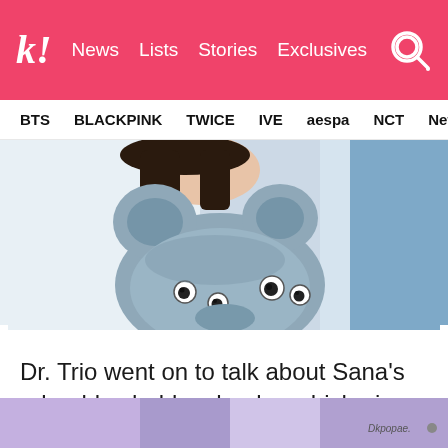k! News  Lists  Stories  Exclusives
BTS  BLACKPINK  TWICE  IVE  aespa  NCT  NewJ
[Figure (photo): Close-up photo of a person in a white jacket holding a grey fluffy stuffed animal/plush toy with googly eyes that resembles a hamster or bear]
Dr. Trio went on to talk about Sana's adorable chubby cheeks, which give her a hamster-like look
[Figure (photo): Bottom strip of another image with purple/blue background and a watermark text]